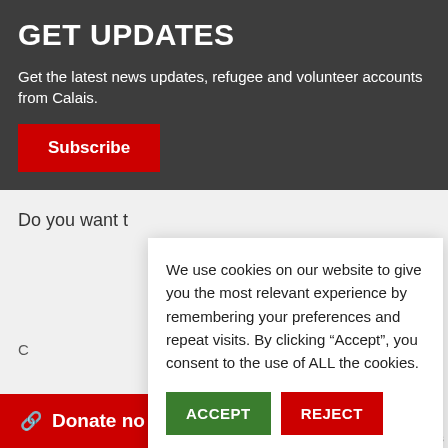GET UPDATES
Get the latest news updates, refugee and volunteer accounts from Calais.
Subscribe
Do you want to
We use cookies on our website to give you the most relevant experience by remembering your preferences and repeat visits. By clicking “Accept”, you consent to the use of ALL the cookies.
ACCEPT
REJECT
Cookie settings
Donate now